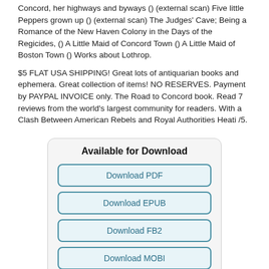Concord, her highways and byways () (external scan) Five little Peppers grown up () (external scan) The Judges' Cave; Being a Romance of the New Haven Colony in the Days of the Regicides, () A Little Maid of Concord Town () A Little Maid of Boston Town () Works about Lothrop.
$5 FLAT USA SHIPPING! Great lots of antiquarian books and ephemera. Great collection of items! NO RESERVES. Payment by PAYPAL INVOICE only. The Road to Concord book. Read 7 reviews from the world's largest community for readers. With a Clash Between American Rebels and Royal Authorities Heati /5.
[Figure (other): Available for Download box with five download buttons: Download PDF, Download EPUB, Download FB2, Download MOBI, Download TXT]